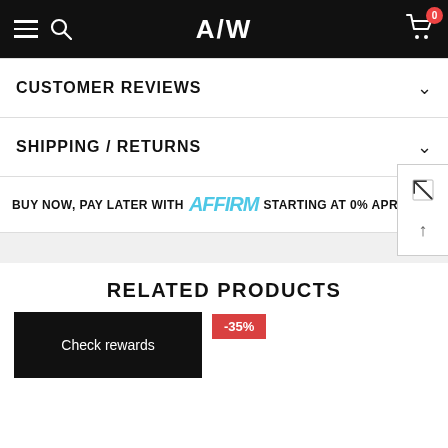A/W
CUSTOMER REVIEWS
SHIPPING / RETURNS
BUY NOW, PAY LATER WITH affirm STARTING AT 0% APR. READ M
RELATED PRODUCTS
Check rewards
-35%